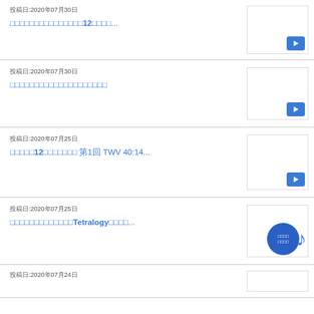投稿日:2020年07月30日
□□□□□□□□□□□□□□□12□□□□...
投稿日:2020年07月30日
□□□□□□□□□□□□□□□□□□□□
投稿日:2020年07月25日
□□□□□12□□□□□□□ 第1回 TWV 40:14...
投稿日:2020年07月25日
□□□□□□□□□□□□□Tetralogy□□□□...
投稿日:2020年07月24日